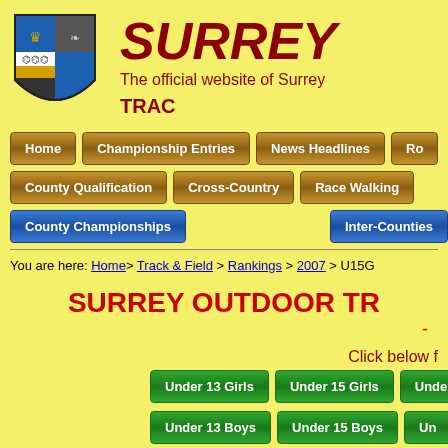[Figure (logo): Surrey county council heraldic shield logo]
SURREY
The official website of Surrey
TRAC
Home
Championship Entries
News Headlines
County Qualification
Cross-Country
Race Walking
Ro
County Championships
Inter-Counties
You are here: Home> Track & Field > Rankings > 2007 > U15G
SURREY OUTDOOR TR
-
Click below f
Under 13 Girls
Under 15 Girls
Unde
Under 13 Boys
Under 15 Boys
Un